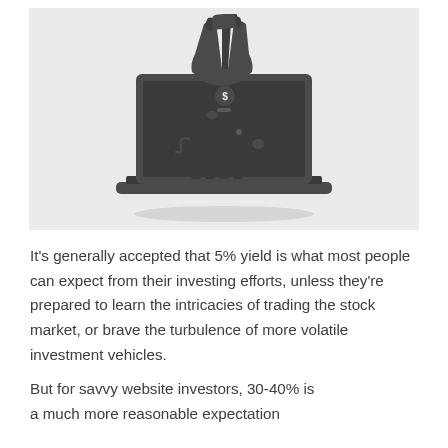[Figure (illustration): Illustration of a hand dropping a coin into a piggy bank displayed on a laptop screen, on a light grey background. The piggy bank and hand are dark grey silhouettes.]
It's generally accepted that 5% yield is what most people can expect from their investing efforts, unless they're prepared to learn the intricacies of trading the stock market, or brave the turbulence of more volatile investment vehicles.
But for savvy website investors, 30-40% is a much more reasonable expectation